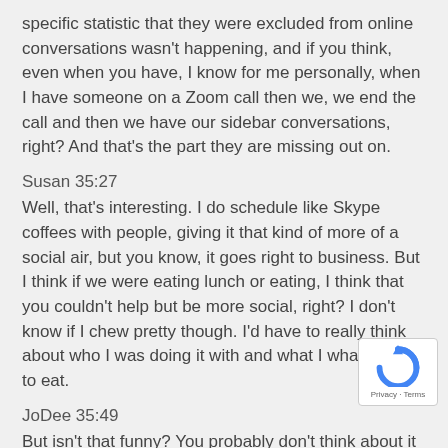specific statistic that they were excluded from online conversations wasn't happening, and if you think, even when you have, I know for me personally, when I have someone on a Zoom call then we, we end the call and then we have our sidebar conversations, right? And that's the part they are missing out on.
Susan 35:27
Well, that's interesting. I do schedule like Skype coffees with people, giving it that kind of more of a social air, but you know, it goes right to business. But I think if we were eating lunch or eating, I think that you couldn't help but be more social, right? I don't know if I chew pretty though. I'd have to really think about who I was doing it with and what I what I chose to eat.
JoDee 35:49
But isn't that funny? You probably don't think about it that much if you just were live having lunch. It just seems so much more visible on a call, I think because we see ourselves, too.
Susan 36:00
But you know what? That's true. Yeah, if I had to see
[Figure (logo): reCAPTCHA badge with logo and Privacy/Terms links]